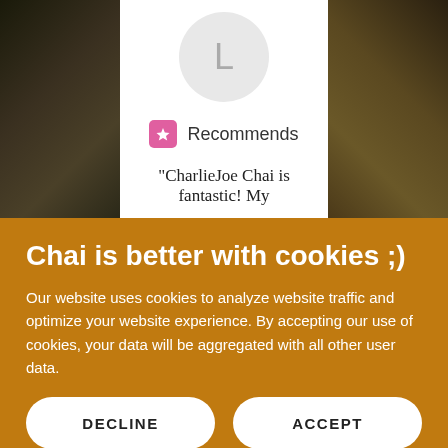[Figure (screenshot): User avatar circle with letter L on white card with dark foliage background on sides]
Recommends
"CharlieJoe Chai is fantastic! My
Chai is better with cookies ;)
Our website uses cookies to analyze website traffic and optimize your website experience. By accepting our use of cookies, your data will be aggregated with all other user data.
DECLINE
ACCEPT